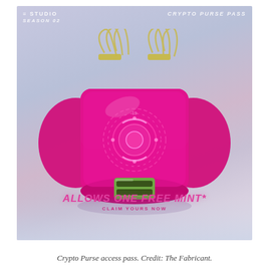[Figure (illustration): Digital illustration of a hot pink/magenta luxury handbag (baguette style) with gold chain handles. The bag features a glowing circular holographic emblem on the flap and a green rectangular clasp. Top-left text reads 'STUDIO / SEASON 02', top-right reads 'CRYPTO PURSE PASS'. Bottom text reads 'ALLOWS ONE FREE MINT* / CLAIM YOURS NOW' in pink italic bold font. Background is a soft lavender-grey gradient with a misty floor effect.]
Crypto Purse access pass. Credit: The Fabricant.